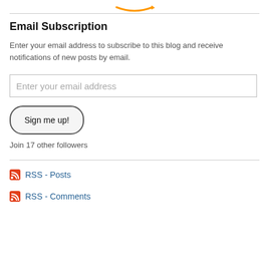[Figure (logo): Amazon.com logo with orange arrow]
Email Subscription
Enter your email address to subscribe to this blog and receive notifications of new posts by email.
Enter your email address
Sign me up!
Join 17 other followers
RSS - Posts
RSS - Comments